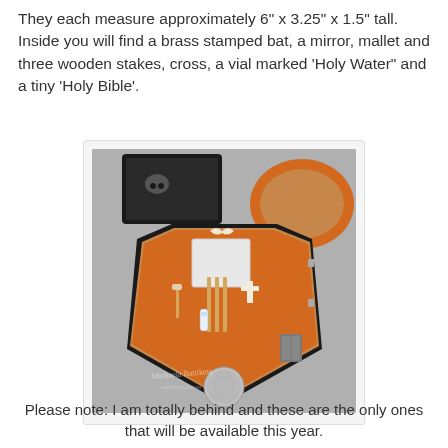They each measure approximately 6" x 3.25" x 1.5" tall. Inside you will find a brass stamped bat, a mirror, mallet and three wooden stakes, cross, a vial marked 'Holy Water" and a tiny 'Holy Bible'.
[Figure (photo): A coffin-shaped wooden box lined with orange felt, open to reveal miniature vampire hunting kit items: a brass bat, mirror, mallet, three wooden stakes, cross, vial of holy water, tiny Holy Bible, and a coin. A second closed box is visible in the background.]
Please note: I am totally behind and these are the only ones that will be available this year.